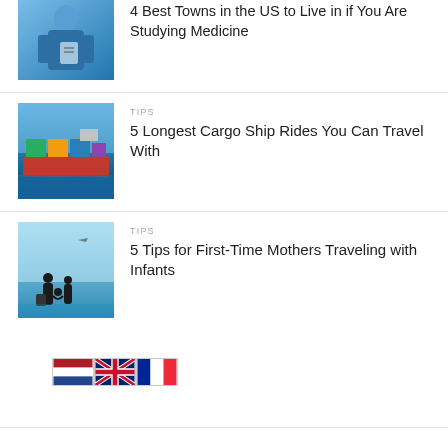4 Best Towns in the US to Live in if You Are Studying Medicine
TIPS
5 Longest Cargo Ship Rides You Can Travel With
TIPS
5 Tips for First-Time Mothers Traveling with Infants
[Figure (other): Row of country flag icons: Netherlands, United Kingdom, France]